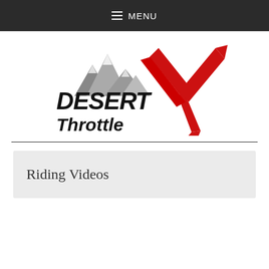MENU
[Figure (logo): Desert X Throttle logo with mountain silhouette in grey, bold black italic text 'DESERT' and 'Throttle', and a large red stylized X with a bird figure]
Riding Videos